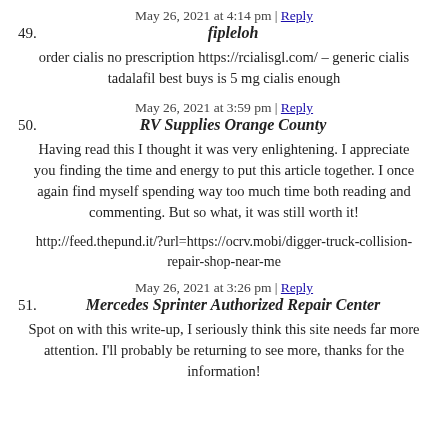May 26, 2021 at 4:14 pm | Reply
49. fipleloh
order cialis no prescription https://rcialisgl.com/ – generic cialis tadalafil best buys is 5 mg cialis enough
May 26, 2021 at 3:59 pm | Reply
50. RV Supplies Orange County
Having read this I thought it was very enlightening. I appreciate you finding the time and energy to put this article together. I once again find myself spending way too much time both reading and commenting. But so what, it was still worth it!
http://feed.thepund.it/?url=https://ocrv.mobi/digger-truck-collision-repair-shop-near-me
May 26, 2021 at 3:26 pm | Reply
51. Mercedes Sprinter Authorized Repair Center
Spot on with this write-up, I seriously think this site needs far more attention. I'll probably be returning to see more, thanks for the information!